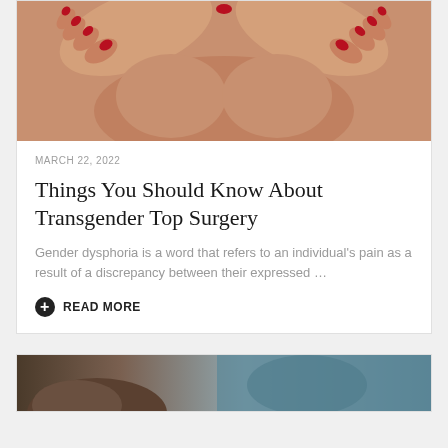[Figure (photo): Close-up photo of a person's chest with hands (with red nail polish) covering the chest area, shown from below the chin to the torso, skin-toned background]
MARCH 22, 2022
Things You Should Know About Transgender Top Surgery
Gender dysphoria is a word that refers to an individual's pain as a result of a discrepancy between their expressed …
READ MORE
[Figure (photo): Partial view of a person's head/hair alongside a teal/blue textured background — bottom card image, partially visible]